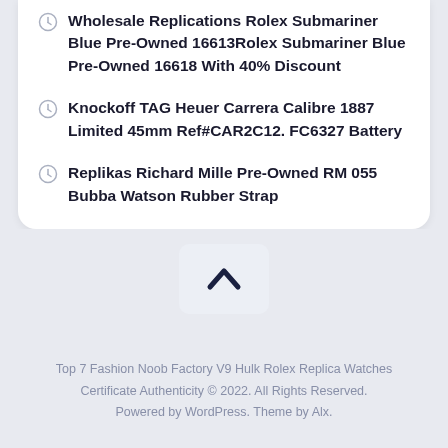Wholesale Replications Rolex Submariner Blue Pre-Owned 16613Rolex Submariner Blue Pre-Owned 16618 With 40% Discount
Knockoff TAG Heuer Carrera Calibre 1887 Limited 45mm Ref#CAR2C12. FC6327 Battery
Replikas Richard Mille Pre-Owned RM 055 Bubba Watson Rubber Strap
[Figure (other): Scroll-to-top button with chevron/caret up arrow icon]
Top 7 Fashion Noob Factory V9 Hulk Rolex Replica Watches Certificate Authenticity © 2022. All Rights Reserved. Powered by WordPress. Theme by Alx.